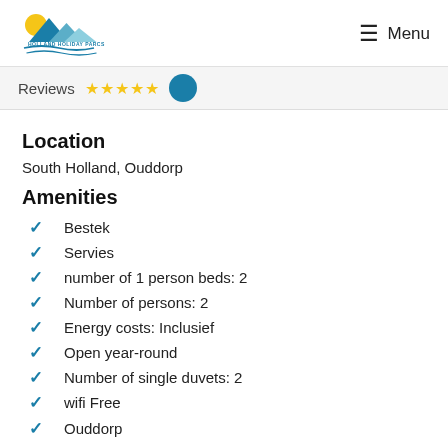Holland Holiday Parcs — Menu
Reviews ★★★★★
Location
South Holland, Ouddorp
Amenities
Bestek
Servies
number of 1 person beds: 2
Number of persons: 2
Energy costs: Inclusief
Open year-round
Number of single duvets: 2
wifi Free
Ouddorp